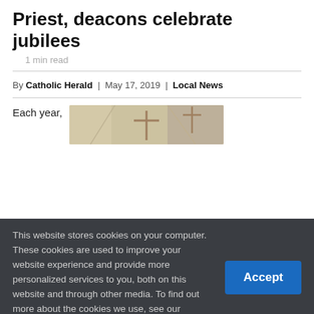Priest, deacons celebrate jubilees
1 min read
By Catholic Herald | May 17, 2019 | Local News
Each year,
[Figure (photo): Partial view of a church interior with a cross visible]
This website stores cookies on your computer. These cookies are used to improve your website experience and provide more personalized services to you, both on this website and through other media. To find out more about the cookies we use, see our Privacy Policy. We won't track your information when you visit our site. But in order to comply with your preferences, we'll have to use just one tiny cookie so that you're not asked to make this choice again. Settings ˅